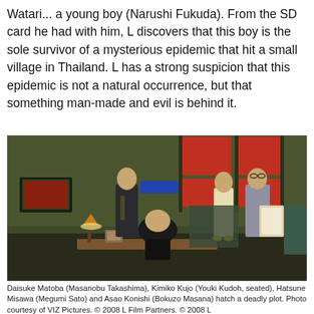Watari... a young boy (Narushi Fukuda). From the SD card he had with him, L discovers that this boy is the sole survivor of a mysterious epidemic that hit a small village in Thailand. L has a strong suspicion that this epidemic is not a natural occurrence, but that something man-made and evil is behind it.
[Figure (photo): Film still showing four characters in a dimly lit room with green walls and red-paneled windows. A man in a dark suit stands on the left speaking; in the center background sits a person with their back turned at a desk with a lamp and framed photo; on the right stand a young woman in a cream coat and an older man in a grey suit holding papers.]
Daisuke Matoba (Masanobu Takashima), Kimiko Kujo (Youki Kudoh, seated), Hatsune Misawa (Megumi Sato) and Asao Konishi (Bokuzo Masana) hatch a deadly plot. Photo courtesy of VIZ Pictures. © 2008 L Film Partners. © 2008 L